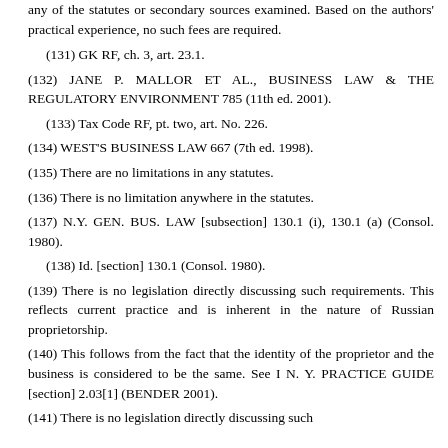any of the statutes or secondary sources examined. Based on the authors' practical experience, no such fees are required.
(131) GK RF, ch. 3, art. 23.1.
(132) JANE P. MALLOR ET AL., BUSINESS LAW & THE REGULATORY ENVIRONMENT 785 (11th ed. 2001).
(133) Tax Code RF, pt. two, art. No. 226.
(134) WEST'S BUSINESS LAW 667 (7th ed. 1998).
(135) There are no limitations in any statutes.
(136) There is no limitation anywhere in the statutes.
(137) N.Y. GEN. BUS. LAW [subsection] 130.1 (i), 130.1 (a) (Consol. 1980).
(138) Id. [section] 130.1 (Consol. 1980).
(139) There is no legislation directly discussing such requirements. This reflects current practice and is inherent in the nature of Russian proprietorship.
(140) This follows from the fact that the identity of the proprietor and the business is considered to be the same. See I N. Y. PRACTICE GUIDE [section] 2.03[1] (BENDER 2001).
(141) There is no legislation directly discussing such